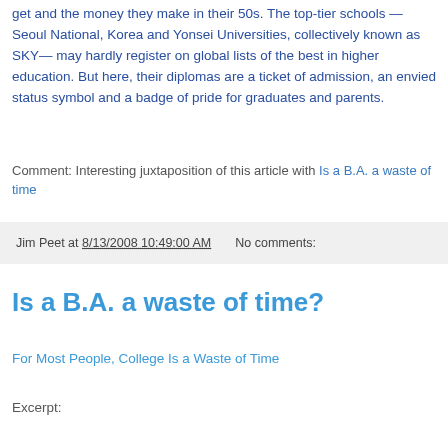get and the money they make in their 50s. The top-tier schools — Seoul National, Korea and Yonsei Universities, collectively known as SKY— may hardly register on global lists of the best in higher education. But here, their diplomas are a ticket of admission, an envied status symbol and a badge of pride for graduates and parents.
Comment: Interesting juxtaposition of this article with Is a B.A. a waste of time
Jim Peet at 8/13/2008 10:49:00 AM    No comments:
Is a B.A. a waste of time?
For Most People, College Is a Waste of Time
Excerpt: